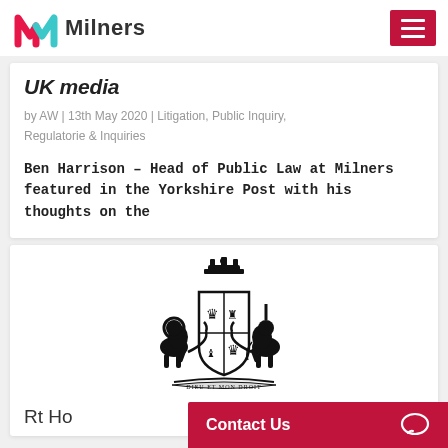Milners
UK media
by AW | 13th May 2020 | Litigation, Public Inquiry, Regulatorie & Inquiries
Ben Harrison – Head of Public Law at Milners featured in the Yorkshire Post with his thoughts on the
[Figure (illustration): Royal coat of arms of the United Kingdom — black and white illustration with lion and unicorn supporters, crown, shield, and motto ribbon]
Rt Ho
Contact Us